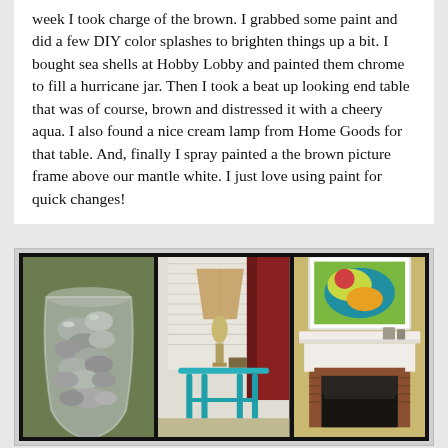week I took charge of the brown.  I grabbed some paint and did a few DIY color splashes to brighten things up a bit.  I bought sea shells at Hobby Lobby and painted them chrome to fill a hurricane jar.  Then I took a beat up looking end table that was of course, brown and distressed it with a cheery aqua.  I also found a nice cream lamp from Home Goods for that table.  And, finally I spray painted a the brown picture frame above our mantle white.  I just love using paint for quick changes!
[Figure (photo): Triptych of three home decor photos on black background: left panel shows chrome-painted sea shells in a glass hurricane jar on green surface; center panel shows a cream lamp on an aqua/turquoise distressed end table with red curtain in background; right panel shows a white picture frame with colorful artwork above a fireplace mantle.]